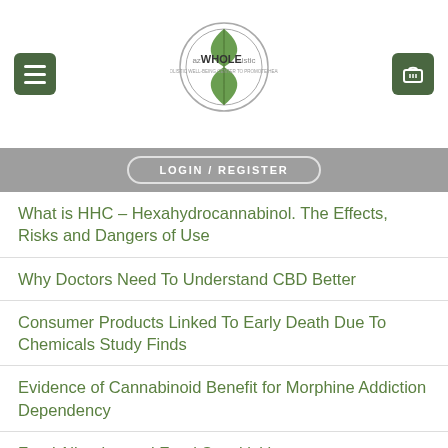[Figure (logo): azWHOLEistic logo with green leaves and circular design]
LOGIN / REGISTER
What is HHC – Hexahydrocannabinol. The Effects, Risks and Dangers of Use
Why Doctors Need To Understand CBD Better
Consumer Products Linked To Early Death Due To Chemicals Study Finds
Evidence of Cannabinoid Benefit for Morphine Addiction Dependency
Food Allergies and Food Sensitivities
RECENT REVIEWS